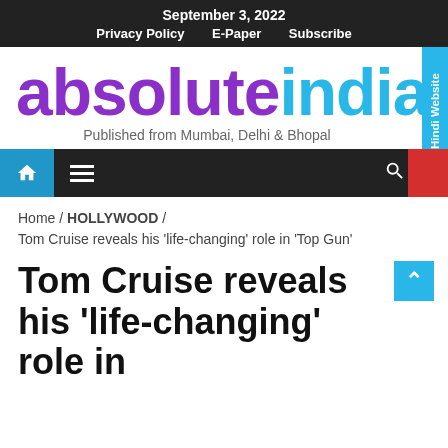September 3, 2022 | Privacy Policy | E-Paper | Subscribe
[Figure (logo): absoluteindia logo — 'absolute' in purple, 'india' in light blue, large bold text]
Published from Mumbai, Delhi & Bhopal
[Figure (screenshot): Navigation bar with home icon, hamburger menu, search icon, red block, and Hindi Website tab]
Home / HOLLYWOOD /
Tom Cruise reveals his 'life-changing' role in 'Top Gun'
Tom Cruise reveals his 'life-changing' role in